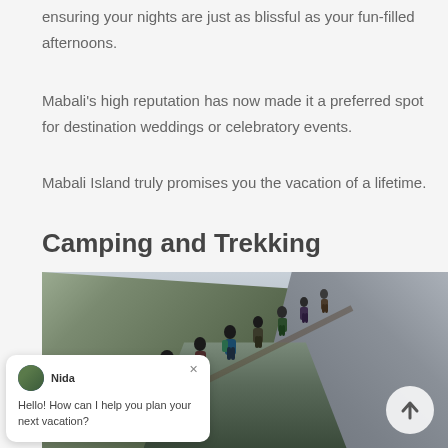ensuring your nights are just as blissful as your fun-filled afternoons.
Mabali's high reputation has now made it a preferred spot for destination weddings or celebratory events.
Mabali Island truly promises you the vacation of a lifetime.
Camping and Trekking
[Figure (photo): Group of trekkers hiking in a line up a steep mountain trail through a rocky valley with dramatic hillside scenery]
Hello! How can I help you plan your next vacation?